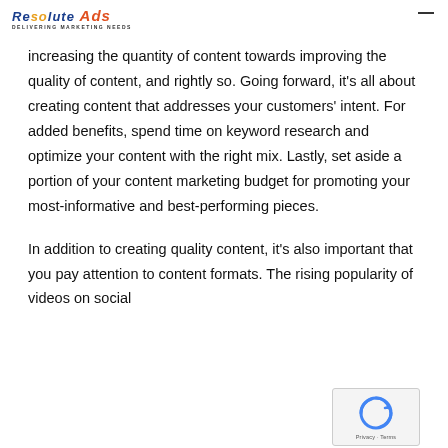Resolute Ads — DELIVERING MARKETING NEEDS
increasing the quantity of content towards improving the quality of content, and rightly so. Going forward, it’s all about creating content that addresses your customers’ intent. For added benefits, spend time on keyword research and optimize your content with the right mix. Lastly, set aside a portion of your content marketing budget for promoting your most-informative and best-performing pieces.
In addition to creating quality content, it’s also important that you pay attention to content formats. The rising popularity of videos on social